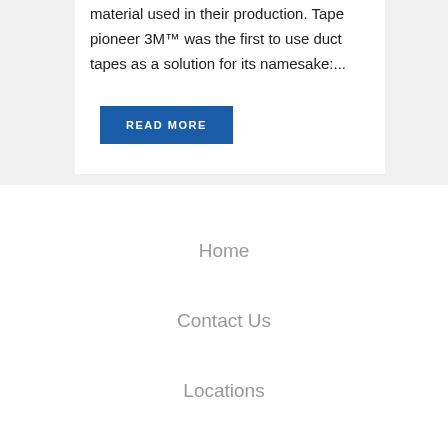material used in their production. Tape pioneer 3M™ was the first to use duct tapes as a solution for its namesake:...
READ MORE
Home
Contact Us
Locations